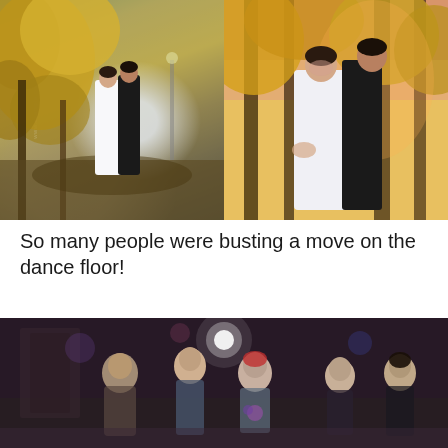[Figure (photo): Two side-by-side autumn wedding photos. Left: bride in white dress and groom in black suit embracing among golden/yellow autumn trees in a park setting. Right: close-up of bride and groom smiling, surrounded by warm golden foliage with pink/orange sunset light in background.]
So many people were busting a move on the dance floor!
[Figure (photo): Wedding reception dance floor photo showing guests dancing; dark ambient lighting with a light orb/lamp visible, people in festive attire dancing together.]